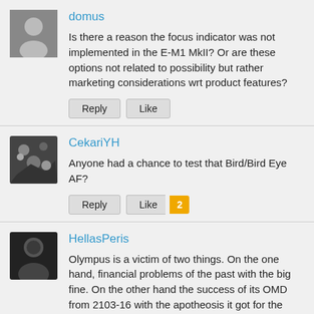domus
Is there a reason the focus indicator was not implemented in the E-M1 MkII? Or are these options not related to possibility but rather marketing considerations wrt product features?
CekariYH
Anyone had a chance to test that Bird/Bird Eye AF?
HellasPeris
Olympus is a victim of two things. On the one hand, financial problems of the past with the big fine. On the other hand the success of its OMD from 2103-16 with the apotheosis it got for the EM5ii EM1ii. So while the micro 4/3 started for amateurs and nature